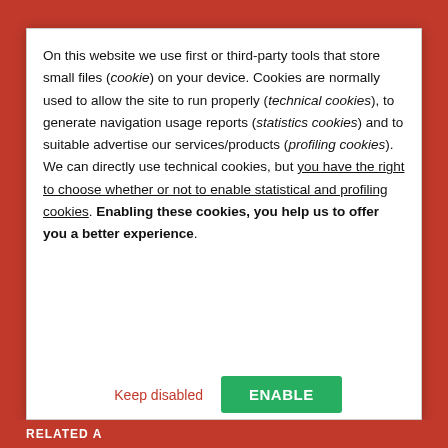Source link
On this website we use first or third-party tools that store small files (cookie) on your device. Cookies are normally used to allow the site to run properly (technical cookies), to generate navigation usage reports (statistics cookies) and to suitable advertise our services/products (profiling cookies). We can directly use technical cookies, but you have the right to choose whether or not to enable statistical and profiling cookies. Enabling these cookies, you help us to offer you a better experience.
Keep disabled
ENABLE